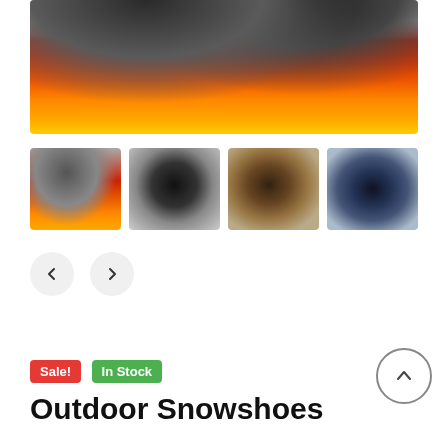[Figure (photo): Main product image showing snowshoes on a red and orange gradient background with dark shoe shapes visible at the top]
[Figure (photo): Four thumbnail images of snowshoe product from different angles]
Sale!
In Stock
Outdoor Snowshoes